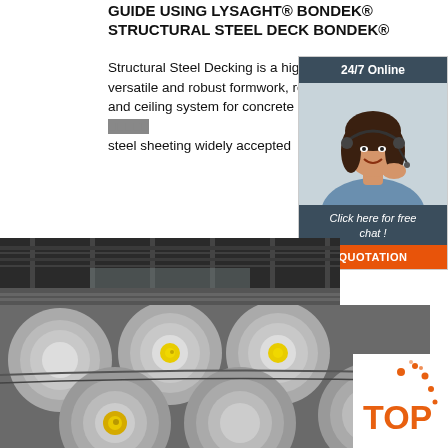GUIDE USING LYSAGHT® BONDEK® STRUCTURAL STEEL DECK BONDEK®
Structural Steel Decking is a highly efficient, versatile and robust formwork, reinforcement and ceiling system for concrete slabs. It is a [partially obscured] steel sheeting widely accepted
Get Price
[Figure (photo): Chat widget with 24/7 Online header, photo of woman with headset, 'Click here for free chat!' text, and QUOTATION button]
[Figure (photo): Top photo of industrial steel factory/warehouse interior]
[Figure (photo): Bottom photo of large steel round bars/billets with yellow end caps]
[Figure (logo): TOP logo with orange dots and text in bottom right corner]